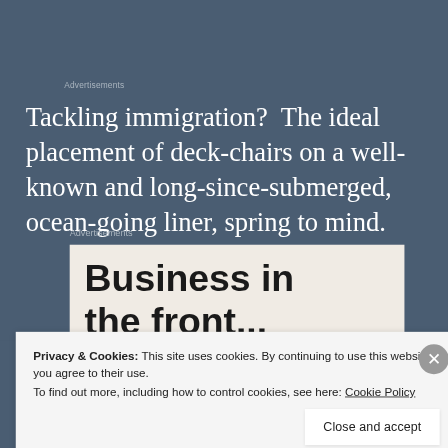Advertisements
Tackling immigration?  The ideal placement of deck-chairs on a well-known and long-since-submerged, ocean-going liner, spring to mind.
Advertisements
[Figure (other): Advertisement box with bold text reading 'Business in the front...']
Privacy & Cookies: This site uses cookies. By continuing to use this website, you agree to their use.
To find out more, including how to control cookies, see here: Cookie Policy
Close and accept